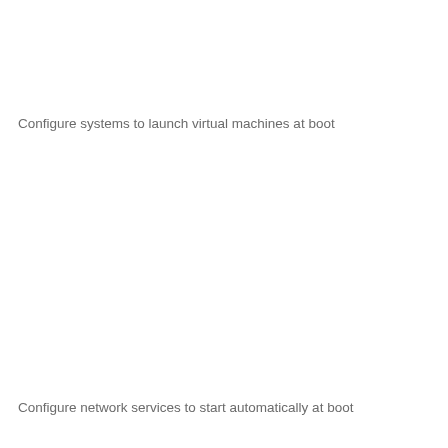Configure systems to launch virtual machines at boot
Configure network services to start automatically at boot